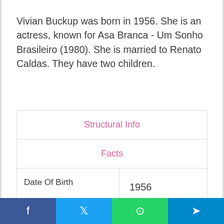Vivian Buckup was born in 1956. She is an actress, known for Asa Branca - Um Sonho Brasileiro (1980). She is married to Renato Caldas. They have two children.
|  |  |
| --- | --- |
| Structural Info |  |
| Facts |  |
| Date Of Birth | 1956 |